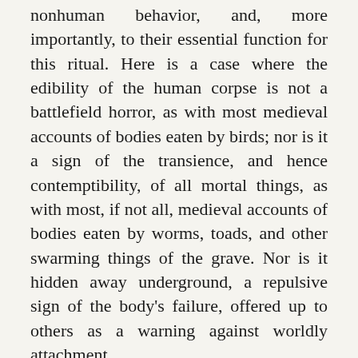nonhuman behavior, and, more importantly, to their essential function for this ritual. Here is a case where the edibility of the human corpse is not a battlefield horror, as with most medieval accounts of bodies eaten by birds; nor is it a sign of the transience, and hence contemptibility, of all mortal things, as with most, if not all, medieval accounts of bodies eaten by worms, toads, and other swarming things of the grave. Nor is it hidden away underground, a repulsive sign of the body's failure, offered up to others as a warning against worldly attachment.
Here edibility is instead part of the public acts of mourning, of familial attachment, especially of material connection of father to son. Managed edibility also recognizes the material stuff of life, and how this material stuff will always come to